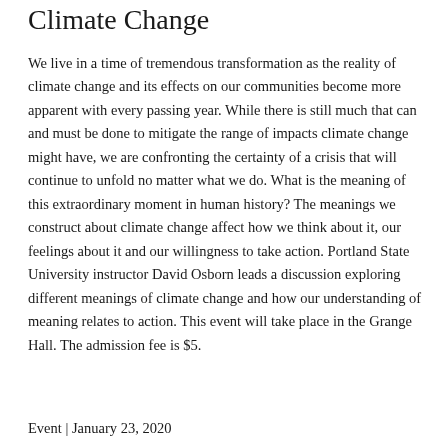Climate Change
We live in a time of tremendous transformation as the reality of climate change and its effects on our communities become more apparent with every passing year. While there is still much that can and must be done to mitigate the range of impacts climate change might have, we are confronting the certainty of a crisis that will continue to unfold no matter what we do. What is the meaning of this extraordinary moment in human history? The meanings we construct about climate change affect how we think about it, our feelings about it and our willingness to take action. Portland State University instructor David Osborn leads a discussion exploring different meanings of climate change and how our understanding of meaning relates to action. This event will take place in the Grange Hall. The admission fee is $5.
Event | January 23, 2020